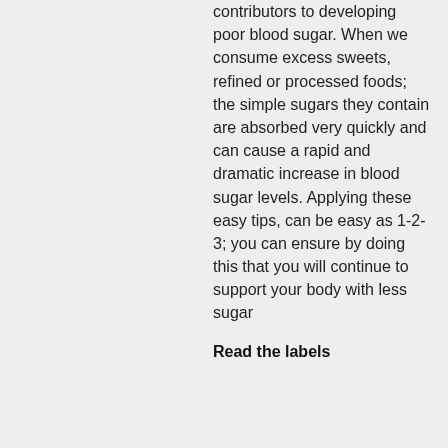contributors to developing poor blood sugar. When we consume excess sweets, refined or processed foods; the simple sugars they contain are absorbed very quickly and can cause a rapid and dramatic increase in blood sugar levels. Applying these easy tips, can be easy as 1-2-3; you can ensure by doing this that you will continue to support your body with less sugar
Read the labels